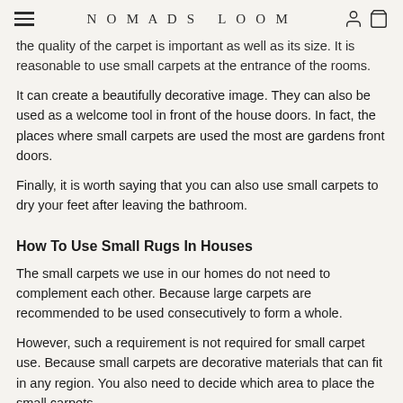NOMADS LOOM
the quality of the carpet is important as well as its size. It is reasonable to use small carpets at the entrance of the rooms.
It can create a beautifully decorative image. They can also be used as a welcome tool in front of the house doors. In fact, the places where small carpets are used the most are gardens front doors.
Finally, it is worth saying that you can also use small carpets to dry your feet after leaving the bathroom.
How To Use Small Rugs In Houses
The small carpets we use in our homes do not need to complement each other. Because large carpets are recommended to be used consecutively to form a whole.
However, such a requirement is not required for small carpet use. Because small carpets are decorative materials that can fit in any region. You also need to decide which area to place the small carpets.
Because the use of these carpets in an area that does not match their size will reveal a bad image. What is recommended by